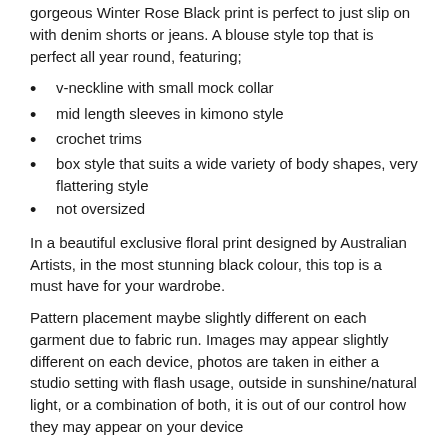gorgeous Winter Rose Black print is perfect to just slip on with denim shorts or jeans. A blouse style top that is perfect all year round, featuring;
v-neckline with small mock collar
mid length sleeves in kimono style
crochet trims
box style that suits a wide variety of body shapes, very flattering style
not oversized
In a beautiful exclusive floral print designed by Australian Artists, in the most stunning black colour, this top is a must have for your wardrobe.
Pattern placement maybe slightly different on each garment due to fabric run. Images may appear slightly different on each device, photos are taken in either a studio setting with flash usage, outside in sunshine/natural light, or a combination of both, it is out of our control how they may appear on your device